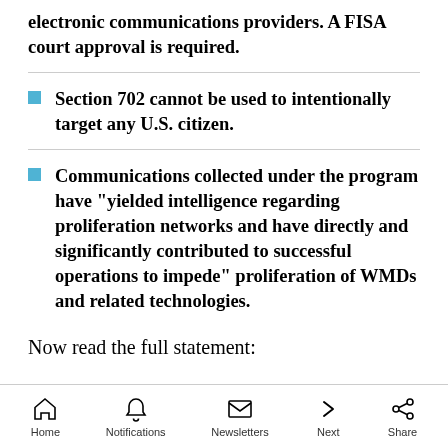electronic communications providers. A FISA court approval is required.
Section 702 cannot be used to intentionally target any U.S. citizen.
Communications collected under the program have "yielded intelligence regarding proliferation networks and have directly and significantly contributed to successful operations to impede" proliferation of WMDs and related technologies.
Now read the full statement:
Home  Notifications  Newsletters  Next  Share